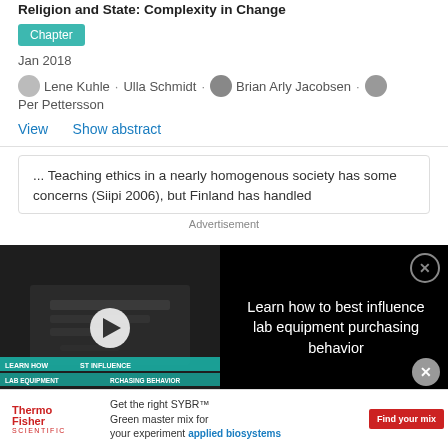Religion and State: Complexity in Change
Chapter
Jan 2018
Lene Kuhle · Ulla Schmidt · Brian Arly Jacobsen · Per Pettersson
View   Show abstract
... Teaching ethics in a nearly homogenous society has some concerns (Siipi 2006), but Finland has handled
[Figure (screenshot): Video advertisement overlay showing lab equipment with title 'Learn how to best influence lab equipment purchasing behavior']
students
Article   Full-text available
Advertisement
Get the right SYBR™ Green master mix for your experiment applied biosystems